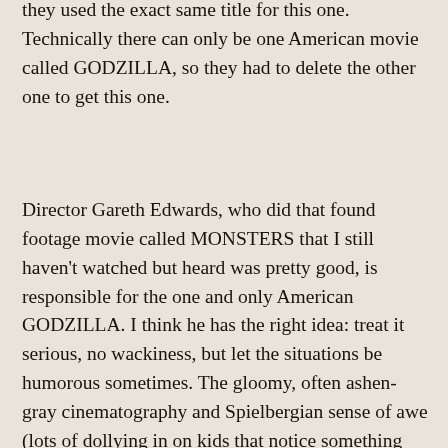they used the exact same title for this one. Technically there can only be one American movie called GODZILLA, so they had to delete the other one to get this one.
Director Gareth Edwards, who did that found footage movie called MONSTERS that I still haven't watched but heard was pretty good, is responsible for the one and only American GODZILLA. I think he has the right idea: treat it serious, no wackiness, but let the situations be humorous sometimes. The gloomy, often ashen-gray cinematography and Spielbergian sense of awe (lots of dollying in on kids that notice something dangerous approaching before the adults do) makes me suspect he was going for a little less silly than what he